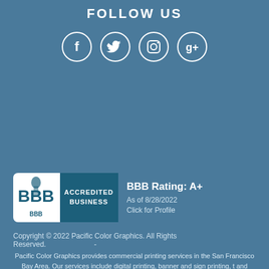FOLLOW US
[Figure (illustration): Four social media icon circles in a row: Facebook (f), Twitter (bird), Instagram (camera), Google+ (g+) — white outlines on steel blue background]
[Figure (logo): BBB Accredited Business badge with BBB Rating: A+, As of 8/28/2022, Click for Profile]
Copyright © 2022 Pacific Color Graphics. All Rights Reserved.   -
Pacific Color Graphics provides commercial printing services in the San Francisco Bay Area. Our services include digital printing, banner and sign printing, t and promotional items, package design, product design, and other innov and marketing items. Silicon Valley: from San Jose and Palo Alto to Walnut Creek, Oakland, Pleasanton